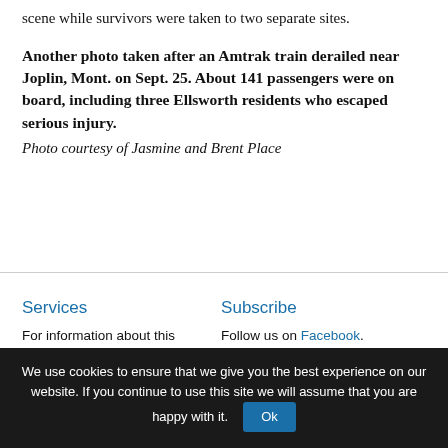scene while survivors were taken to two separate sites.
Another photo taken after an Amtrak train derailed near Joplin, Mont. on Sept. 25. About 141 passengers were on board, including three Ellsworth residents who escaped serious injury. Photo courtesy of Jasmine and Brent Place
Services
For information about this website or content published please
Subscribe
Follow us on Facebook.
General Info
We use cookies to ensure that we give you the best experience on our website. If you continue to use this site we will assume that you are happy with it.